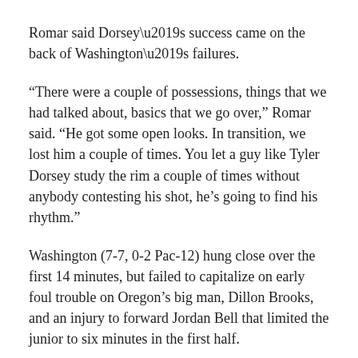Romar said Dorsey’s success came on the back of Washington’s failures.
“There were a couple of possessions, things that we had talked about, basics that we go over,” Romar said. “He got some open looks. In transition, we lost him a couple of times. You let a guy like Tyler Dorsey study the rim a couple of times without anybody contesting his shot, he’s going to find his rhythm.”
Washington (7-7, 0-2 Pac-12) hung close over the first 14 minutes, but failed to capitalize on early foul trouble on Oregon’s big man, Dillon Brooks, and an injury to forward Jordan Bell that limited the junior to six minutes in the first half.
And Oregon beat Washington State, the Huskies...